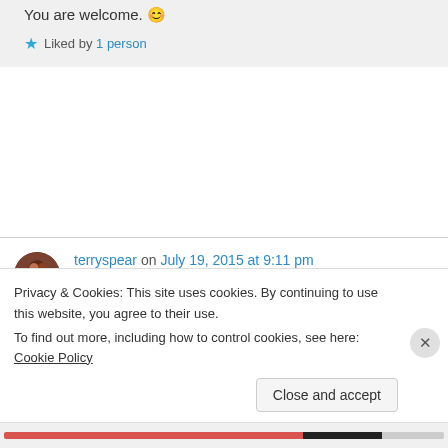You are welcome. 😊
★ Liked by 1 person
terryspear on July 19, 2015 at 9:11 pm
beautiful!
★ Liked by 1 person
Privacy & Cookies: This site uses cookies. By continuing to use this website, you agree to their use. To find out more, including how to control cookies, see here: Cookie Policy
Close and accept